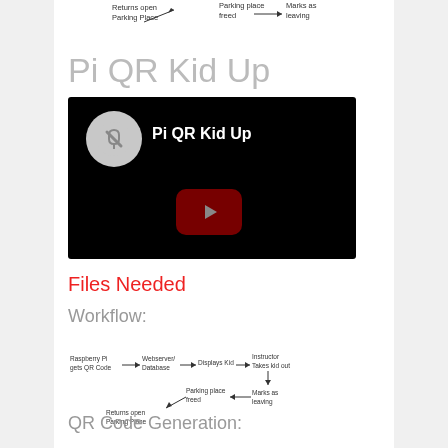[Figure (flowchart): Partial workflow diagram visible at top of page showing 'Returns open Parking Place', 'Parking place freed', and 'Marks as leaving' with arrows]
Pi QR Kid Up
[Figure (screenshot): Video thumbnail with black background, circular avatar icon, text 'Pi QR Kid Up', and a dark red play button in the center]
Files Needed
Workflow:
[Figure (flowchart): Workflow diagram: Raspberry Pi gets QR Code -> Webserver/Database -> Displays Kid -> Instructor Takes kid out -> Marks as leaving -> Parking place freed -> Returns open Parking Place]
QR Code Generation: